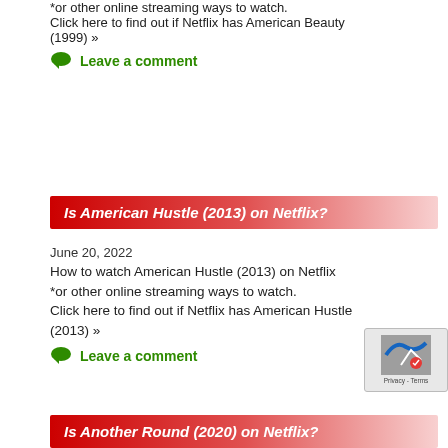*or other online streaming ways to watch. Click here to find out if Netflix has American Beauty (1999) >>
Leave a comment
Is American Hustle (2013) on Netflix?
June 20, 2022
How to watch American Hustle (2013) on Netflix *or other online streaming ways to watch. Click here to find out if Netflix has American Hustle (2013) >>
Leave a comment
Is Another Round (2020) on Netflix?